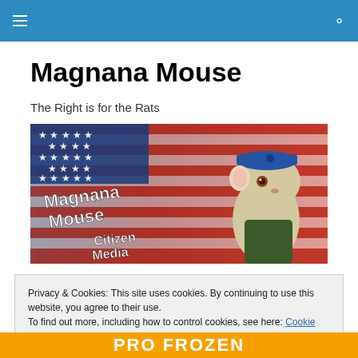Magnana Mouse – navigation bar
Magnana Mouse
The Right is for the Rats
[Figure (illustration): Banner image showing a cartoon mouse wearing a blue beret and military-style green jacket, posed against an American flag background. Text on image reads 'Magnana Mouse' and 'Citizen Media'.]
Privacy & Cookies: This site uses cookies. By continuing to use this website, you agree to their use.
To find out more, including how to control cookies, see here: Cookie Policy
[Figure (photo): Partial bottom strip showing yellow/orange background with white bold text, partially visible.]